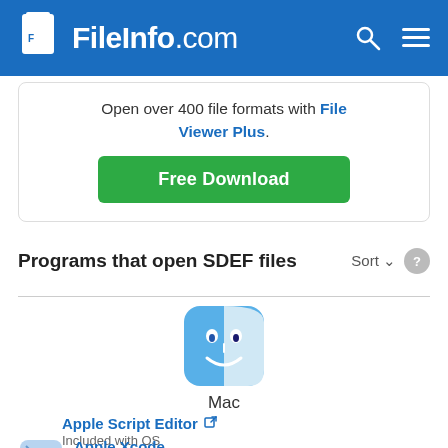FileInfo.com
Open over 400 file formats with File Viewer Plus.
Free Download
Programs that open SDEF files
[Figure (logo): Mac Finder icon - blue and white smiley face]
Mac
Apple Script Editor - Included with OS
Apple Xcode - Free
[Figure (logo): Apple Xcode icon - blueprint pencil graphic]